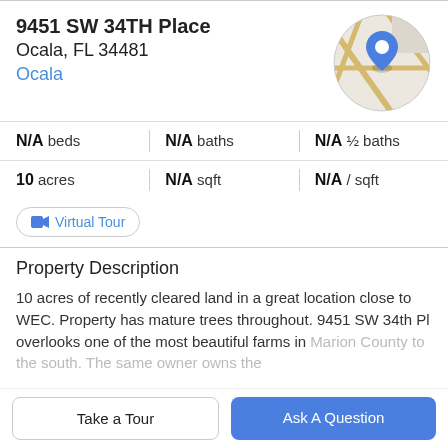9451 SW 34TH Place
Ocala, FL 34481
Ocala
[Figure (map): Circular map thumbnail with a blue location pin marker and road lines on a beige/grey background]
N/A beds | N/A baths | N/A ½ baths
10 acres | N/A sqft | N/A / sqft
Virtual Tour
Property Description
10 acres of recently cleared land in a great location close to WEC. Property has mature trees throughout. 9451 SW 34th Pl overlooks one of the most beautiful farms in Marion County to the south. The same owner owns the
Take a Tour
Ask A Question